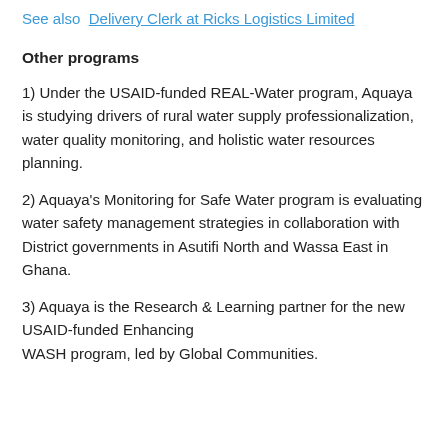See also  Delivery Clerk at Ricks Logistics Limited
Other programs
1) Under the USAID-funded REAL-Water program, Aquaya is studying drivers of rural water supply professionalization, water quality monitoring, and holistic water resources planning.
2) Aquaya's Monitoring for Safe Water program is evaluating water safety management strategies in collaboration with District governments in Asutifi North and Wassa East in Ghana.
3) Aquaya is the Research & Learning partner for the new USAID-funded Enhancing WASH program, led by Global Communities.